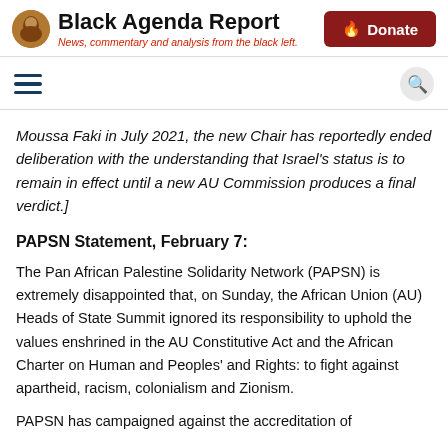Black Agenda Report — News, commentary and analysis from the black left.
Moussa Faki in July 2021, the new Chair has reportedly ended deliberation with the understanding that Israel's status is to remain in effect until a new AU Commission produces a final verdict.]
PAPSN Statement, February 7:
The Pan African Palestine Solidarity Network (PAPSN) is extremely disappointed that, on Sunday, the African Union (AU) Heads of State Summit ignored its responsibility to uphold the values enshrined in the AU Constitutive Act and the African Charter on Human and Peoples' and Rights: to fight against apartheid, racism, colonialism and Zionism.
PAPSN has campaigned against the accreditation of